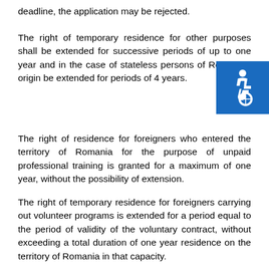deadline, the application may be rejected.
The right of temporary residence for other purposes shall be extended for successive periods of up to one year and in the case of stateless persons of Romanian origin be extended for periods of 4 years.
[Figure (illustration): Blue square icon with wheelchair accessibility symbol in white]
The right of residence for foreigners who entered the territory of Romania for the purpose of unpaid professional training is granted for a maximum of one year, without the possibility of extension.
The right of temporary residence for foreigners carrying out volunteer programs is extended for a period equal to the period of validity of the voluntary contract, without exceeding a total duration of one year residence on the territory of Romania in that capacity.
opinion of the National Authority for Scientific Research. This favorable opinion can be obtained if the research and